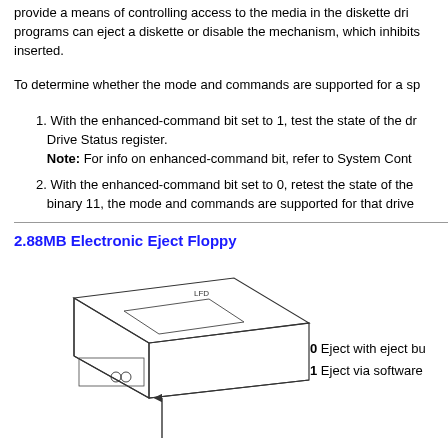provide a means of controlling access to the media in the diskette drive. programs can eject a diskette or disable the mechanism, which inhibits inserted.
To determine whether the mode and commands are supported for a sp
1. With the enhanced-command bit set to 1, test the state of the dr... Drive Status register.
Note: For info on enhanced-command bit, refer to System Cont...
2. With the enhanced-command bit set to 0, retest the state of the binary 11, the mode and commands are supported for that drive.
2.88MB Electronic Eject Floppy
[Figure (engineering-diagram): Isometric engineering diagram of a 2.88MB Electronic Eject Floppy drive labeled LFD, showing the drive enclosure with a diskette slot and eject mechanism.]
0 Eject with eject bu...
1 Eject via software...